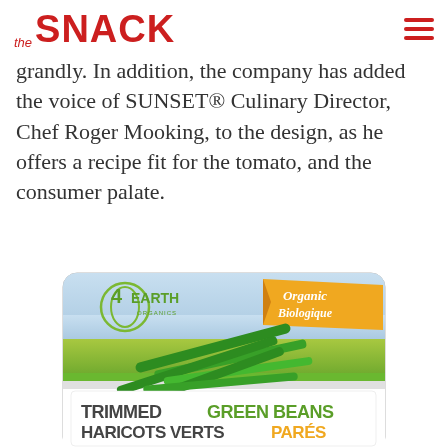the SNACK
grandly. In addition, the company has added the voice of SUNSET® Culinary Director, Chef Roger Mooking, to the design, as he offers a recipe fit for the tomato, and the consumer palate.
[Figure (photo): 4Earth Organics package of Trimmed Green Beans / Haricots Verts Parés with Organic Biologique banner]